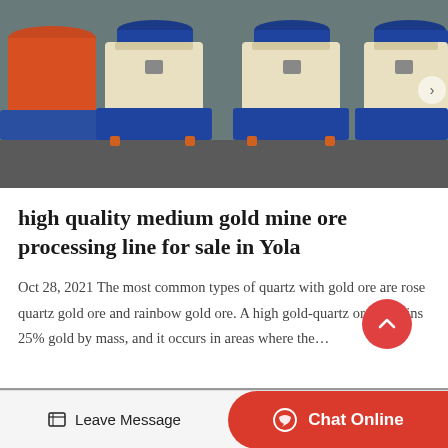[Figure (photo): Industrial mining machinery — large crusher/processing units in cream/beige color mounted on blue steel frames, with an orange/red cylindrical tank on the left, arranged in a row on a concrete surface outdoors.]
high quality medium gold mine ore processing line for sale in Yola
Oct 28, 2021 The most common types of quartz with gold ore are rose quartz gold ore and rainbow gold ore. A high gold-quartz ore contains 25% gold by mass, and it occurs in areas where the…
[Figure (photo): Partial view of another industrial/mining scene at the bottom of the page.]
Leave Message
Chat Online